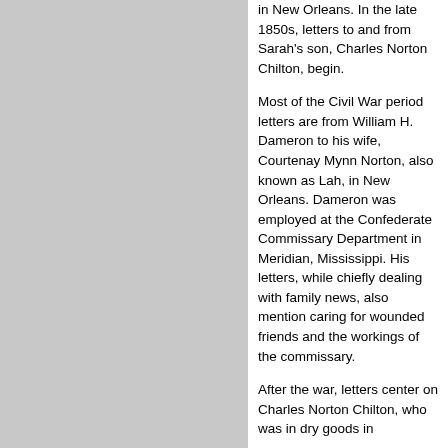in New Orleans. In the late 1850s, letters to and from Sarah's son, Charles Norton Chilton, begin.
Most of the Civil War period letters are from William H. Dameron to his wife, Courtenay Mynn Norton, also known as Lah, in New Orleans. Dameron was employed at the Confederate Commissary Department in Meridian, Mississippi. His letters, while chiefly dealing with family news, also mention caring for wounded friends and the workings of the commissary.
After the war, letters center on Charles Norton Chilton, who was in dry goods in